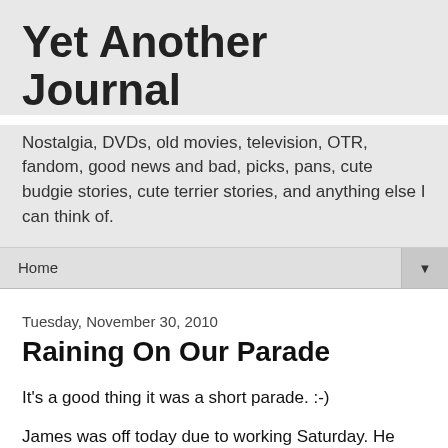Yet Another Journal
Nostalgia, DVDs, old movies, television, OTR, fandom, good news and bad, picks, pans, cute budgie stories, cute terrier stories, and anything else I can think of.
Home
Tuesday, November 30, 2010
Raining On Our Parade
It's a good thing it was a short parade. :-)
James was off today due to working Saturday. He went out early to get blood taken at Kaiser and to get his car inspected. In the meantime I cleared out the foyer and washed the floor. (I considered not washing it today because the weather report was extremely liquid—but then, if you didn't wash the floor because it would just get dirty again,